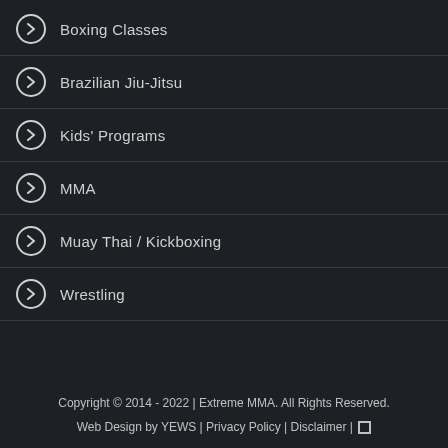Boxing Classes
Brazilian Jiu-Jitsu
Kids' Programs
MMA
Muay Thai / Kickboxing
Wrestling
Copyright © 2014 - 2022 | Extreme MMA. All Rights Reserved.
Web Design by YEWS | Privacy Policy | Disclaimer |